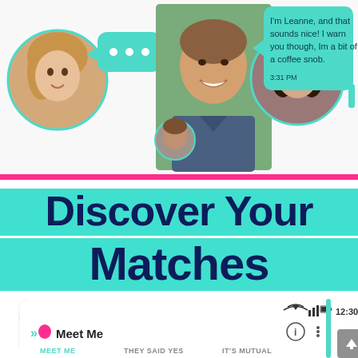[Figure (screenshot): Dating app screenshot showing chat bubbles, profile photos of a woman and man, and a teal speech bubble with text 'I'm Leanne, and that sounds nice! I warn you though, Im a bit of a coffee snob.' with timestamp 3:31 PM]
Discover Your Matches
[Figure (screenshot): Mobile app screenshot showing 'Meet Me' app with status bar showing 12:30, info and menu icons, and tabs: MEET ME, THEY SAID YES, IT'S MUTUAL]